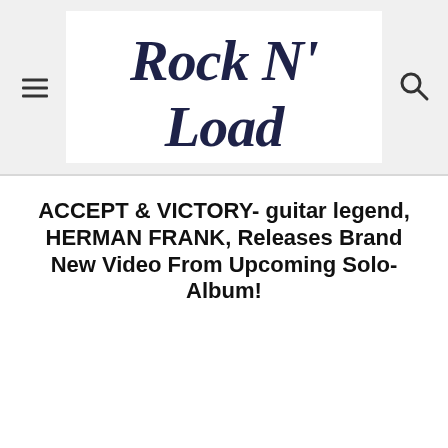Rock N' Load
ACCEPT & VICTORY- guitar legend, HERMAN FRANK, Releases Brand New Video From Upcoming Solo- Album!